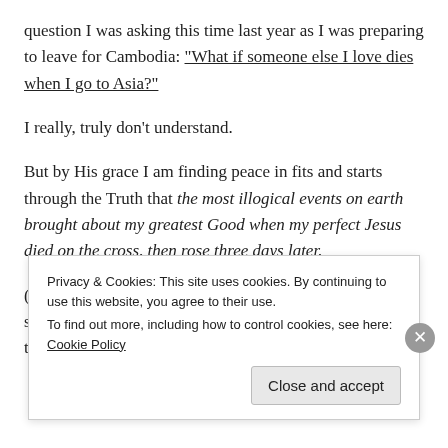question I was asking this time last year as I was preparing to leave for Cambodia: “What if someone else I love dies when I go to Asia?”
I really, truly don’t understand.
But by His grace I am finding peace in fits and starts through the Truth that the most illogical events on earth brought about my greatest Good when my perfect Jesus died on the cross, then rose three days later.
(And in the moments when the corkscrew turns and I simply can’t be the one to fight for that Truth, I’m learning to turn
Privacy & Cookies: This site uses cookies. By continuing to use this website, you agree to their use.
To find out more, including how to control cookies, see here: Cookie Policy